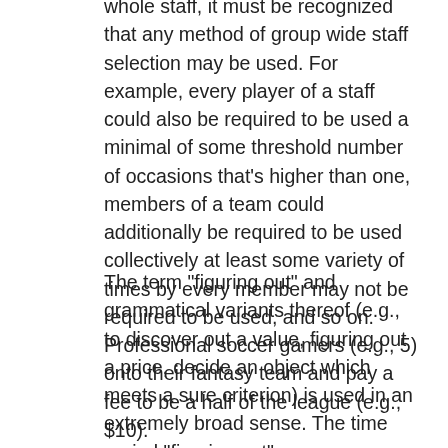whole staff, it must be recognized that any method of group wide staff selection may be used. For example, every player of a staff could also be required to be used a minimal of some threshold number of occasions that's higher than one, members of a team could additionally be required to be used collectively at least some variety of times by every member may not be required to be used, and so on. Professional soccer gamers (e.g., 5) onto their fantasy team and pay a fee to be a half of the league (e.g., $10).
The term "figuring out" and grammatical variants thereof (e.g., to discover out a value, figuring out a price, decide an object which meets a sure criterion) is used in an extremely broad sense. The time period "figuring out" encompasses all kinds of actions and therefore "figuring out" can embody calculating, computing, processing, deriving,